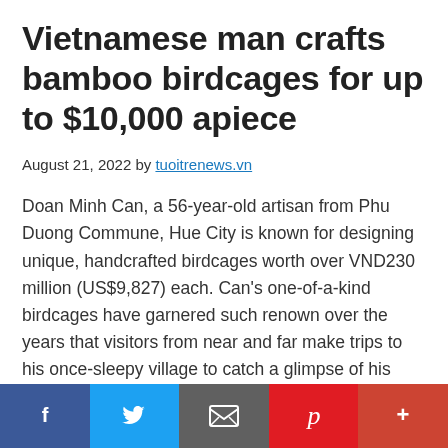Vietnamese man crafts bamboo birdcages for up to $10,000 apiece
August 21, 2022 by tuoitrenews.vn
Doan Minh Can, a 56-year-old artisan from Phu Duong Commune, Hue City is known for designing unique, handcrafted birdcages worth over VND230 million (US$9,827) each. Can's one-of-a-kind birdcages have garnered such renown over the years that visitors from near and far make trips to his once-sleepy village to catch a glimpse of his unique works. "Each birdcage I make is one of a kind..."